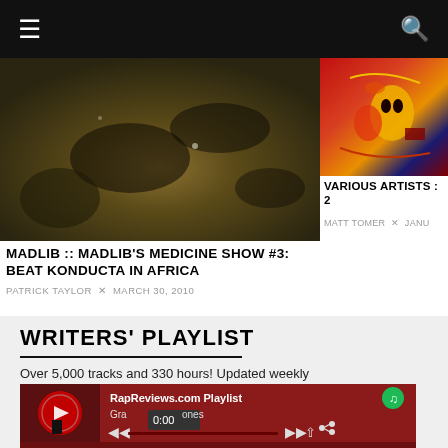≡  🔍
[Figure (photo): Dark earthy textured image, close-up of ground or dark organic surface]
MADLIB :: MADLIB'S MEDICINE SHOW #3: BEAT KONDUCTA IN AFRICA
PATRICK TAYLOR × MARCH 30, 2010
[Figure (illustration): Colorful stylized illustration with red, yellow, green colors, appears to be a face or character artwork]
VARIOUS ARTISTS : 2
MATT TOMER × JANU
WRITERS' PLAYLIST
Over 5,000 tracks and 330 hours! Updated weekly
[Figure (screenshot): Spotify embedded playlist player showing RapReviews.com Playlist with Gravestones track, time display 0:00, track 1 Fame For President 2:59]
1  Fame For President  2:59